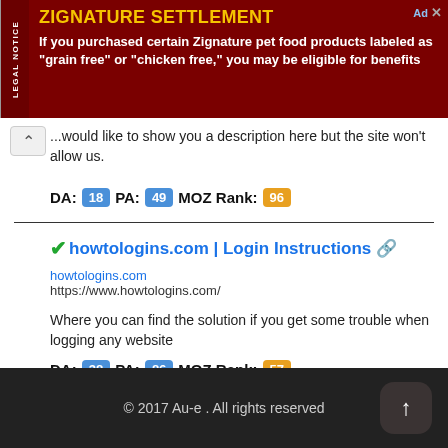[Figure (screenshot): Advertisement banner for Zignature Settlement with dark red background, yellow title, white body text, and vertical 'Legal Notice' side label]
...would like to show you a description here but the site won't allow us.
DA: 18  PA: 49  MOZ Rank: 96
✓howtologins.com | Login Instructions 🔗
howtologins.com
https://www.howtologins.com/
Where you can find the solution if you get some trouble when logging any website
DA: 38  PA: 86  MOZ Rank: 57
© 2017 Au-e . All rights reserved